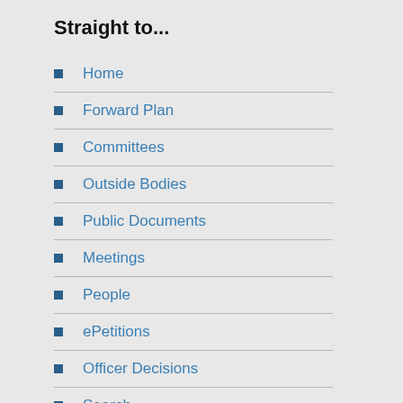Straight to...
Home
Forward Plan
Committees
Outside Bodies
Public Documents
Meetings
People
ePetitions
Officer Decisions
Search